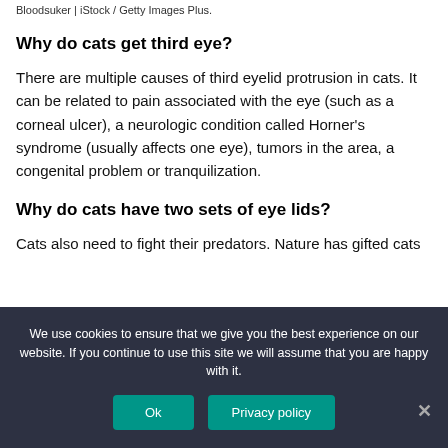Bloodsuker | iStock / Getty Images Plus.
Why do cats get third eye?
There are multiple causes of third eyelid protrusion in cats. It can be related to pain associated with the eye (such as a corneal ulcer), a neurologic condition called Horner's syndrome (usually affects one eye), tumors in the area, a congenital problem or tranquilization.
Why do cats have two sets of eye lids?
Cats also need to fight their predators. Nature has gifted cats
We use cookies to ensure that we give you the best experience on our website. If you continue to use this site we will assume that you are happy with it.
Ok
Privacy policy